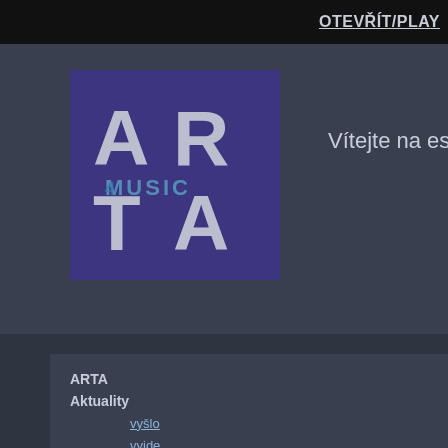OTEVŘÍT/PLAY
[Figure (logo): ARTA Music logo — purple square with large AR/TA letters and 'MUSIC' text overlaid]
Vítejte na eshop
ARTA
Aktuality
vyšlo
vyjde
DISTRIBUCE
novinky
mimořádná nabídka
akce ECM 50 let
JAZZ
KLASIKA
JINÁ HUDBA
LP vinyl
LP akce
DVD
domácí scéna
knihy, noty
Areni Agbabian – Bloom
Areni Agbabian: voice, piano
Nicolas Stocker: percussion
Areni Agbabian casts a quie... been described as "bell-ton... "intensely focused, moving... Bloom, has a richness that l... percussion of Nicolas Stock... Angeles into an Armenian l... by Armenian jazz pianist Ti... sacred hymns, a traditional... ethnomusicologist Komitas... wide world of influences, fr... Kate Bush. The melody tha...